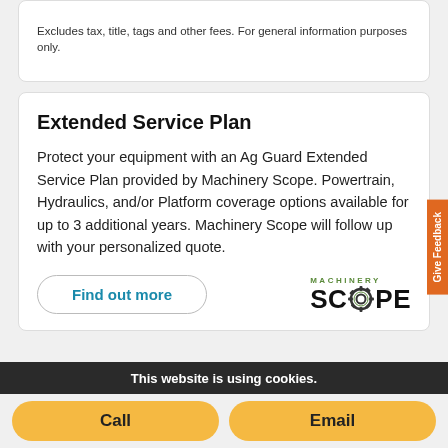Excludes tax, title, tags and other fees. For general information purposes only.
Extended Service Plan
Protect your equipment with an Ag Guard Extended Service Plan provided by Machinery Scope. Powertrain, Hydraulics, and/or Platform coverage options available for up to 3 additional years. Machinery Scope will follow up with your personalized quote.
[Figure (logo): Machinery Scope logo with gear icon replacing the O]
Find out more
This website is using cookies.
Call
Email